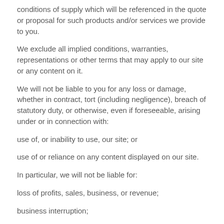conditions of supply which will be referenced in the quote or proposal for such products and/or services we provide to you.
We exclude all implied conditions, warranties, representations or other terms that may apply to our site or any content on it.
We will not be liable to you for any loss or damage, whether in contract, tort (including negligence), breach of statutory duty, or otherwise, even if foreseeable, arising under or in connection with:
use of, or inability to use, our site; or
use of or reliance on any content displayed on our site.
In particular, we will not be liable for:
loss of profits, sales, business, or revenue;
business interruption;
loss of anticipated savings;
loss of business opportunity, goodwill or reputation; or
any indirect or consequential loss or damage.